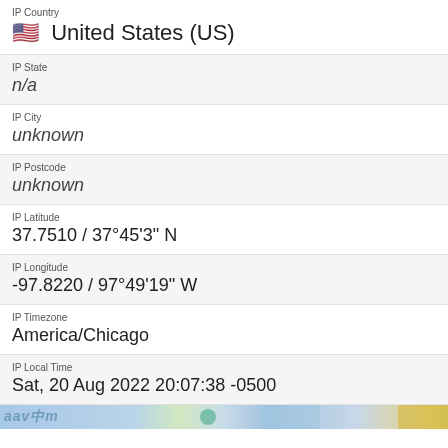IP Country
🇺🇸 United States (US)
IP State
n/a
IP City
unknown
IP Postcode
unknown
IP Latitude
37.7510 / 37°45'3" N
IP Longitude
-97.8220 / 97°49'19" W
IP Timezone
America/Chicago
IP Local Time
Sat, 20 Aug 2022 20:07:38 -0500
[Figure (map): Partial map strip visible at bottom of IP info section]